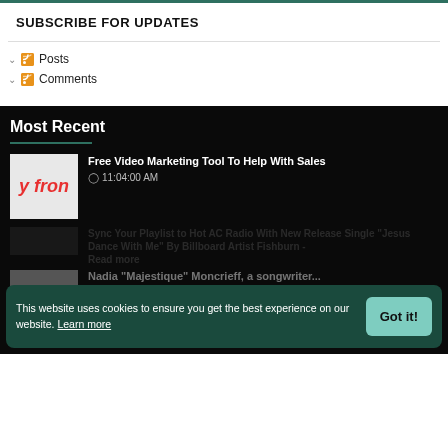SUBSCRIBE FOR UPDATES
Posts
Comments
Most Recent
[Figure (photo): Thumbnail image showing partial text 'y fron' in red on white background]
Free Video Marketing Tool To Help With Sales
11:04:00 AM
This website uses cookies to ensure you get the best experience on our website. Learn more
Nadia "Majestique" Moncrieff, a songwriter...